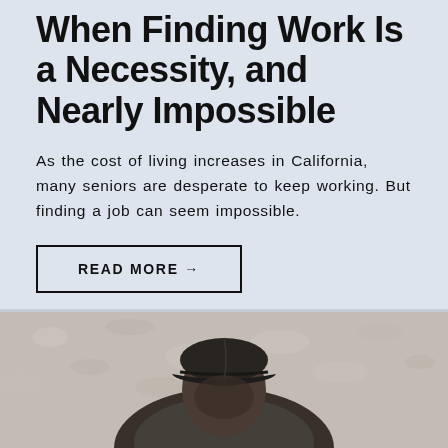When Finding Work Is a Necessity, and Nearly Impossible
As the cost of living increases in California, many seniors are desperate to keep working. But finding a job can seem impossible.
READ MORE →
[Figure (photo): Photo of a person wearing a dark gray baseball cap and jacket, standing against a textured light-colored wall. Only the upper portion of the person is visible.]